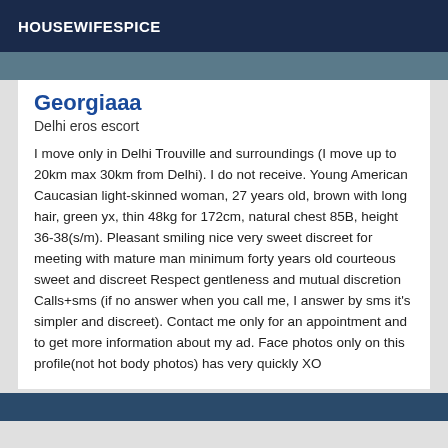HOUSEWIFESPICE
[Figure (photo): Top photo strip, partially visible image]
Georgiaaa
Delhi eros escort
I move only in Delhi Trouville and surroundings (I move up to 20km max 30km from Delhi). I do not receive. Young American Caucasian light-skinned woman, 27 years old, brown with long hair, green yx, thin 48kg for 172cm, natural chest 85B, height 36-38(s/m). Pleasant smiling nice very sweet discreet for meeting with mature man minimum forty years old courteous sweet and discreet Respect gentleness and mutual discretion Calls+sms (if no answer when you call me, I answer by sms it's simpler and discreet). Contact me only for an appointment and to get more information about my ad. Face photos only on this profile(not hot body photos) has very quickly XO
[Figure (photo): Bottom photo strip, partially visible image]